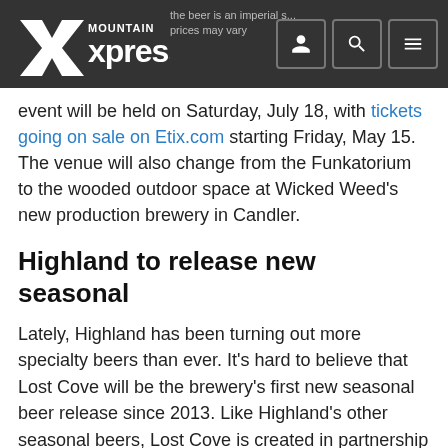Mountain Xpress
event will be held on Saturday, July 18, with tickets going on sale on Etix.com starting Friday, May 15. The venue will also change from the Funkatorium to the wooded outdoor space at Wicked Weed's new production brewery in Candler.
Highland to release new seasonal
Lately, Highland has been turning out more specialty beers than ever. It's hard to believe that Lost Cove will be the brewery's first new seasonal beer release since 2013. Like Highland's other seasonal beers, Lost Cove is created in partnership with the Southern Appalachian Highland's Conservancy, an organization that works to permanently protect over 68,000 acres of land in North Carolina and Tennessee. Each beer is named for a specific place — Lost Cove is a legendary ghost town on the Nolichucky River, abandoned in 1957. The beer itself is a unique take on the pale ale according to Highland, with Pilsen malt and